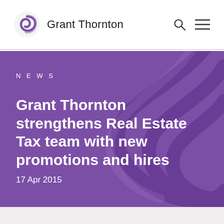Grant Thornton
NEWS
Grant Thornton strengthens Real Estate Tax team with new promotions and hires
17 Apr 2015